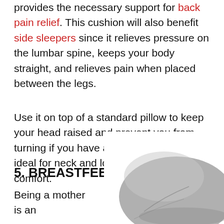provides the necessary support for back pain relief. This cushion will also benefit side sleepers since it relieves pressure on the lumbar spine, keeps your body straight, and relieves pain when placed between the legs.
Use it on top of a standard pillow to keep your head raised and prevent you from turning if you have a stiff neck. They're ideal for neck and lower back support and comfort.
5. BREASTFEEDING FRIENDLY
Being a mother is an
[Figure (photo): Photo of a gray wedge/body pillow shape against a white background]